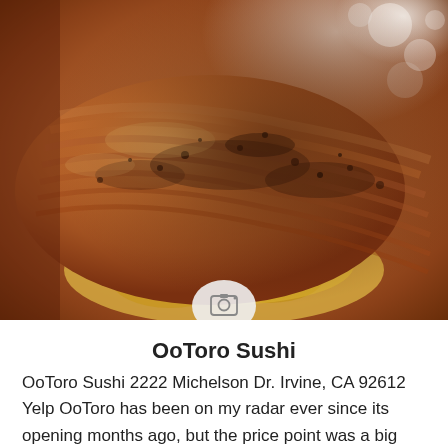[Figure (photo): Close-up photo of seared/torched sushi, showing charred marbled fish with golden-brown crust, with yellow components visible underneath, on a white background with bokeh effect in upper right.]
OoToro Sushi
OoToro Sushi 2222 Michelson Dr. Irvine, CA 92612 Yelp OoToro has been on my radar ever since its opening months ago, but the price point was a big deterrent.  In OC, I am accustomed to paying double digits for pretty great sushi, but OoToro touts a triple digit price tag for